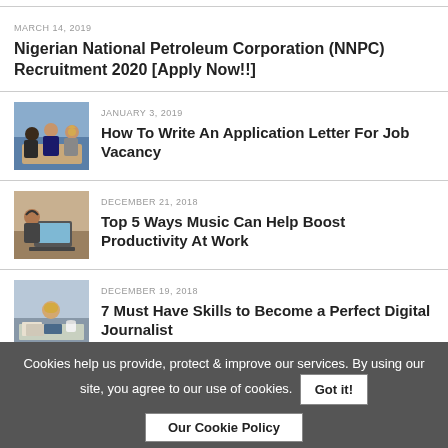MARCH 14, 2019
Nigerian National Petroleum Corporation (NNPC) Recruitment 2020 [Apply Now!!]
[Figure (photo): People sitting at a meeting table in a professional setting]
JANUARY 3, 2019
How To Write An Application Letter For Job Vacancy
[Figure (photo): Person working on a laptop in a cafe or office]
DECEMBER 21, 2018
Top 5 Ways Music Can Help Boost Productivity At Work
[Figure (photo): Woman working at a desk with documents]
DECEMBER 19, 2018
7 Must Have Skills to Become a Perfect Digital Journalist
Cookies help us provide, protect & improve our services. By using our site, you agree to our use of cookies. Got it! Our Cookie Policy